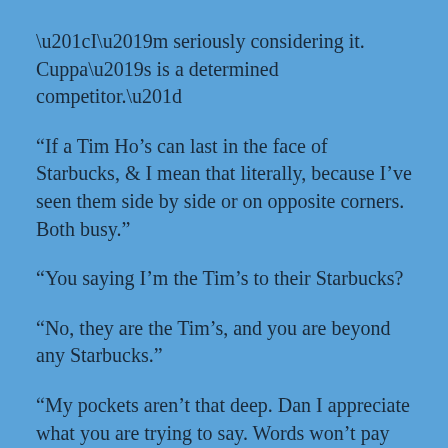“I’m seriously considering it. Cuppa’s is a determined competitor.”
“If a Tim Ho’s can last in the face of Starbucks, & I mean that literally, because I’ve seen them side by side or on opposite corners. Both busy.”
“You saying I’m the Tim’s to their Starbucks?
“No, they are the Tim’s, and you are beyond any Starbucks.”
“My pockets aren’t that deep. Dan I appreciate what you are trying to say. Words won’t pay the bills.”